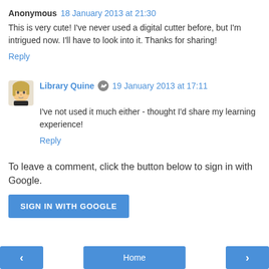Anonymous 18 January 2013 at 21:30
This is very cute! I've never used a digital cutter before, but I'm intrigued now. I'll have to look into it. Thanks for sharing!
Reply
[Figure (photo): Avatar image of Library Quine - illustrated cartoon face with blonde hair]
Library Quine 19 January 2013 at 17:11
I've not used it much either - thought I'd share my learning experience!
Reply
To leave a comment, click the button below to sign in with Google.
SIGN IN WITH GOOGLE
< Home >